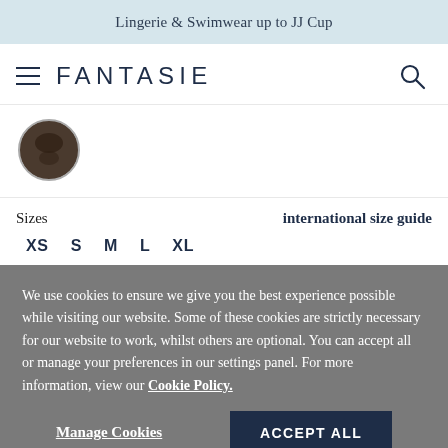Lingerie & Swimwear up to JJ Cup
[Figure (logo): Fantasie brand logo with hamburger menu icon on left and search icon on right]
[Figure (photo): Circular product thumbnail showing a dark lingerie item]
Sizes   international size guide
XS  S  M  L  XL
We use cookies to ensure we give you the best experience possible while visiting our website. Some of these cookies are strictly necessary for our website to work, whilst others are optional. You can accept all or manage your preferences in our settings panel. For more information, view our Cookie Policy.
Manage Cookies   ACCEPT ALL